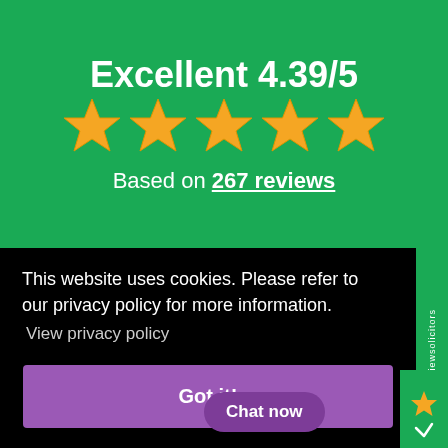Excellent 4.39/5
[Figure (infographic): Five gold star rating icons displayed in a row]
Based on 267 reviews
This website uses cookies. Please refer to our privacy policy for more information. View privacy policy
Got it!
Chat now
Friendly , give great ... y Solicitors I've e used...